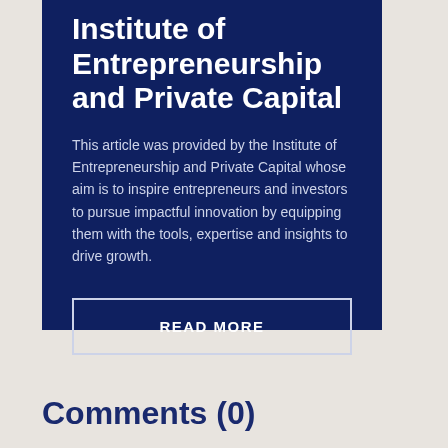Institute of Entrepreneurship and Private Capital
This article was provided by the Institute of Entrepreneurship and Private Capital whose aim is to inspire entrepreneurs and investors to pursue impactful innovation by equipping them with the tools, expertise and insights to drive growth.
READ MORE
Comments (0)